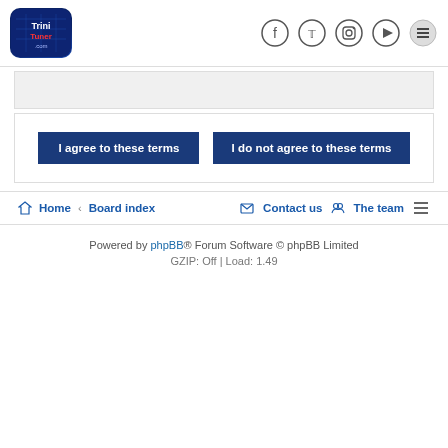[Figure (logo): TriniTuner.com logo — blue rounded square icon with text]
[Figure (other): Social media icons: Facebook, Twitter, Instagram, Play, Menu (hamburger)]
[Figure (other): Gray bar — top content region]
I agree to these terms   I do not agree to these terms
Home  ‹  Board index     Contact us   The team   ≡
Powered by phpBB® Forum Software © phpBB Limited
GZIP: Off | Load: 1.49